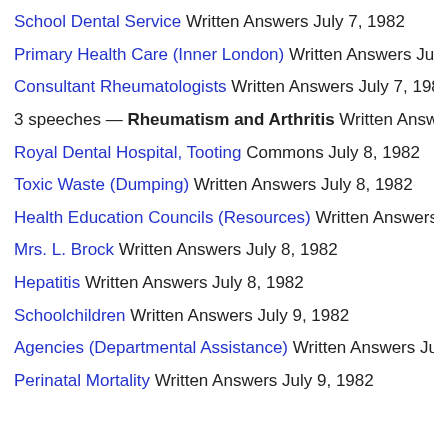School Dental Service Written Answers July 7, 1982
Primary Health Care (Inner London) Written Answers July 7, 1982
Consultant Rheumatologists Written Answers July 7, 1982
3 speeches — Rheumatism and Arthritis Written Answers July…
Royal Dental Hospital, Tooting Commons July 8, 1982
Toxic Waste (Dumping) Written Answers July 8, 1982
Health Education Councils (Resources) Written Answers July 8…
Mrs. L. Brock Written Answers July 8, 1982
Hepatitis Written Answers July 8, 1982
Schoolchildren Written Answers July 9, 1982
Agencies (Departmental Assistance) Written Answers July 9, 1…
Perinatal Mortality Written Answers July 9, 1982